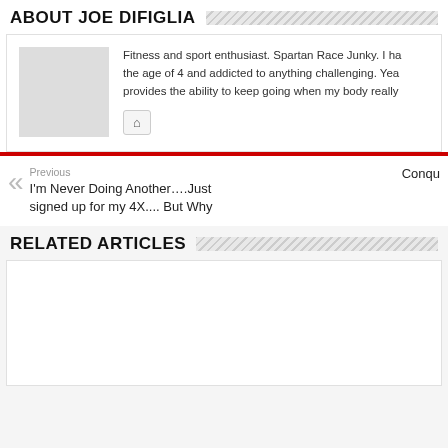ABOUT JOE DIFIGLIA
Fitness and sport enthusiast. Spartan Race Junky. I ha the age of 4 and addicted to anything challenging. Yea provides the ability to keep going when my body really
Previous
I'm Never Doing Another….Just signed up for my 4X.... But Why
Conqu
RELATED ARTICLES